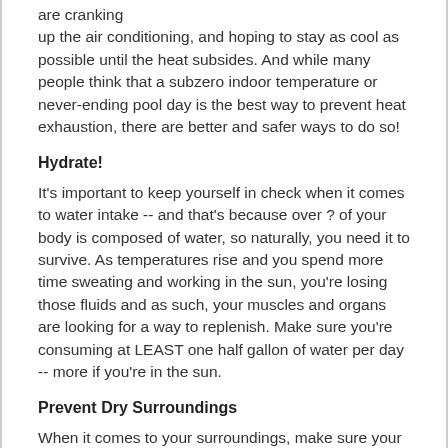are cranking up the air conditioning, and hoping to stay as cool as possible until the heat subsides. And while many people think that a subzero indoor temperature or never-ending pool day is the best way to prevent heat exhaustion, there are better and safer ways to do so!
Hydrate!
It's important to keep yourself in check when it comes to water intake -- and that's because over ? of your body is composed of water, so naturally, you need it to survive. As temperatures rise and you spend more time sweating and working in the sun, you're losing those fluids and as such, your muscles and organs are looking for a way to replenish. Make sure you're consuming at LEAST one half gallon of water per day -- more if you're in the sun.
Prevent Dry Surroundings
When it comes to your surroundings, make sure your plants, grass, and other fixtures have the proper ‘hydration’ too. Nobody likes looking at dead grass, and it can also pose a fire hazard if it becomes too dry! Keep this in check by watering your plants on a daily basis, and making sure